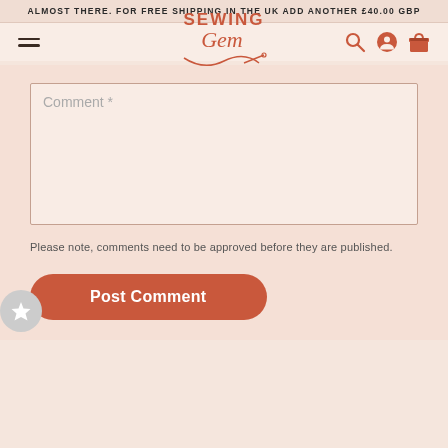ALMOST THERE. FOR FREE SHIPPING IN THE UK ADD ANOTHER £40.00 GBP
[Figure (logo): Sewing Gem logo with cursive text and needle illustration in terracotta color]
Comment *
Please note, comments need to be approved before they are published.
Post Comment